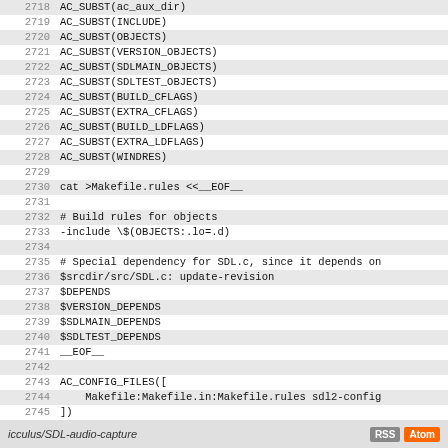[Figure (screenshot): Source code listing showing autoconf configure.ac lines 2718-2747 with line numbers. Alternating shaded rows. Code includes AC_SUBST calls, cat heredoc for Makefile.rules, dependency variables, and AC_CONFIG_FILES/AC_OUTPUT commands.]
icculus/SDL-audio-capture   RSS  Atom